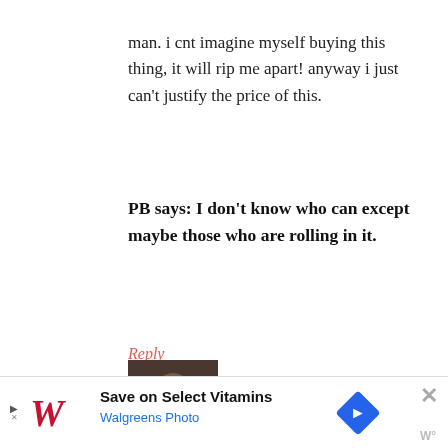man. i cnt imagine myself buying this thing, it will rip me apart! anyway i just can't justify the price of this.
PB says: I don't know who can except maybe those who are rolling in it.
Reply
Doris says
[Figure (photo): Avatar photo of a person]
Save on Select Vitamins Walgreens Photo